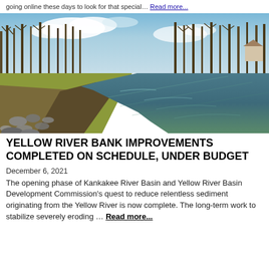going online these days to look for that special… Read more...
[Figure (photo): A river with eroded banks on the left and rock-lined banks on the right, surrounded by bare winter trees and a partly cloudy blue sky.]
YELLOW RIVER BANK IMPROVEMENTS COMPLETED ON SCHEDULE, UNDER BUDGET
December 6, 2021
The opening phase of Kankakee River Basin and Yellow River Basin Development Commission's quest to reduce relentless sediment originating from the Yellow River is now complete. The long-term work to stabilize severely eroding … Read more...